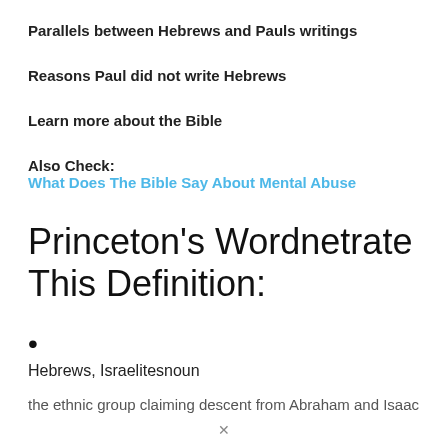Parallels between Hebrews and Pauls writings
Reasons Paul did not write Hebrews
Learn more about the Bible
Also Check: What Does The Bible Say About Mental Abuse
Princeton's Wordnetrate This Definition:
Hebrews, Israelitesnoun
the ethnic group claiming descent from Abraham and Isaac